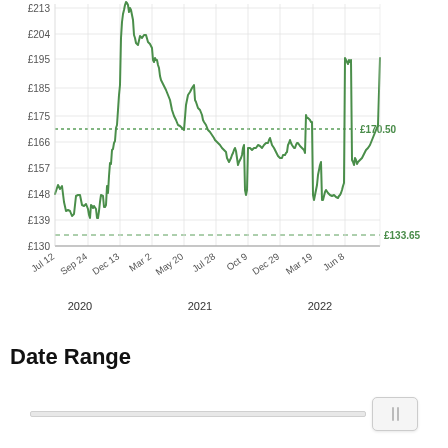[Figure (continuous-plot): Line chart showing price history from Jul 12 2020 to Jun 8 2022. Y-axis ranges from £130 to above £213. Price starts around £150, rises to peaks near £213+ in early 2021, then falls to around £160 range mid-2021, fluctuates between £145–£165 in late 2021 through early 2022, then spikes to ~£192 in Jun 2022. Reference lines: £170.50 (dotted green, current price) and £133.65 (dashed green, lowest price). X-axis labels: Jul 12, Sep 24, Dec 13, Mar 2, May 20, Jul 28, Oct 9, Dec 29, Mar 19, Jun 8 with year labels 2020, 2021, 2022.]
Date Range